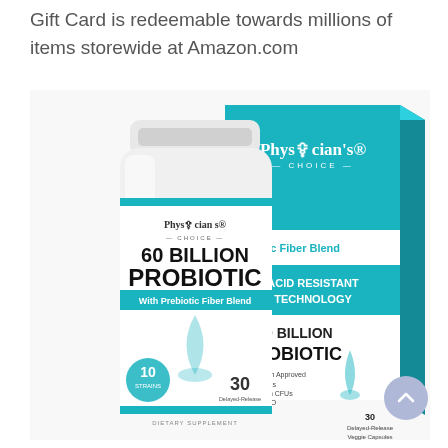Gift Card is redeemable towards millions of items storewide at Amazon.com
[Figure (photo): Physician's Choice 60 Billion Probiotic supplement bottle and box with teal/white packaging. The bottle label shows '60 BILLION PROBIOTIC With Prebiotic Fiber Blend', 10 Strains, 30 Delayed-Release Veggie Capsules. The box shows 'With Prebiotic Fiber Blend', 'ACID RESISTANT TECHNOLOGY', '60 BILLION PROBIOTIC', Physician Approved, 10 Strains, 60 Billion CFUs, Non-GMO, 30 Delayed-Release Veggie Capsules.]